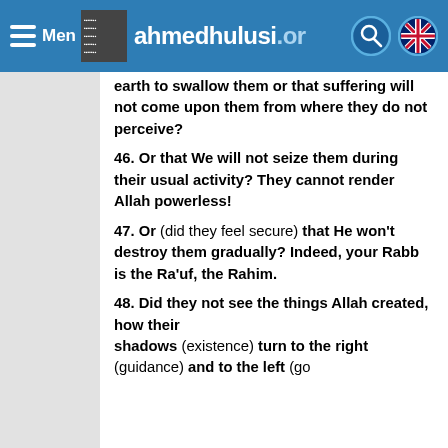Menu ahmedhulusi.org
earth to swallow them or that suffering will not come upon them from where they do not perceive?
46. Or that We will not seize them during their usual activity? They cannot render Allah powerless!
47. Or (did they feel secure) that He won't destroy them gradually? Indeed, your Rabb is the Ra'uf, the Rahim.
48. Did they not see the things Allah created, how their shadows (existence) turn to the right (guidance) and to the left (going astray)...